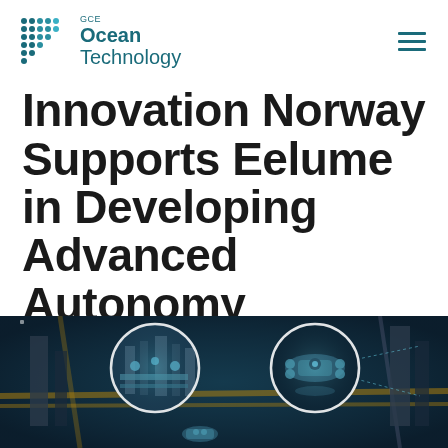GCE Ocean Technology
Innovation Norway Supports Eelume in Developing Advanced Autonomy
[Figure (photo): Underwater photo showing subsea equipment/infrastructure with circular inset detail views, depicting robotic or autonomous underwater vehicles near subsea structures in a dark blue underwater environment.]